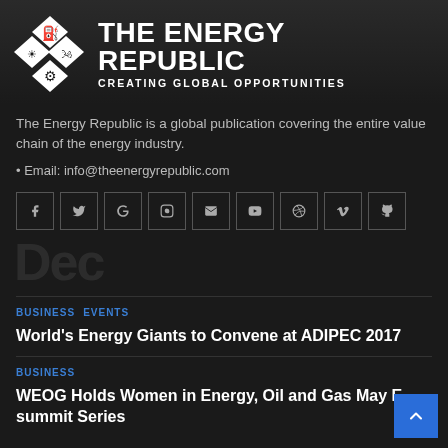[Figure (logo): The Energy Republic logo — diamond grid icon with four energy symbols (oil rig, solar panel, wind turbine, gear) alongside bold white text 'THE ENERGY REPUBLIC' and subtitle 'CREATING GLOBAL OPPORTUNITIES']
The Energy Republic is a global publication covering the entire value chain of the energy industry.
• Email: info@theenergyrepublic.com
[Figure (infographic): Row of 9 social media icon buttons (Facebook, Twitter, Google, Instagram, Email, YouTube, Dribbble, Vimeo, GitHub) in bordered square boxes]
Dec
BUSINESS   EVENTS
World's Energy Giants to Convene at ADIPEC 2017
BUSINESS
WEOG Holds Women in Energy, Oil and Gas May E-summit Series